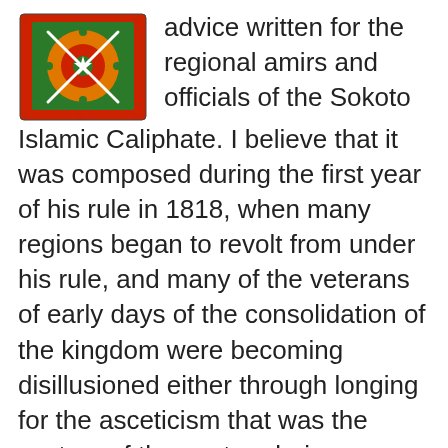[Figure (illustration): Sokoto Caliphate emblem/flag: circular design with green background, orange and red geometric patterns, crossed swords or staffs, decorative border with x marks at corners]
advice written for the regional amirs and officials of the Sokoto Islamic Caliphate. I believe that it was composed during the first year of his rule in 1818, when many regions began to revolt from under his rule, and many of the veterans of early days of the consolidation of the kingdom were becoming disillusioned either through longing for the asceticism that was the custom of the past, or being preoccupied with the responsibilities gained from their victories. >>